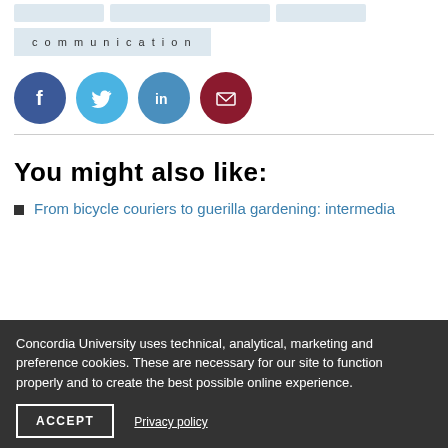communication
[Figure (infographic): Social media sharing icons: Facebook (blue circle with f), Twitter (light blue circle with bird), LinkedIn (blue circle with in), Email (dark red circle with envelope)]
You might also like:
From bicycle couriers to guerilla gardening: intermedia
Concordia University uses technical, analytical, marketing and preference cookies. These are necessary for our site to function properly and to create the best possible online experience.
ACCEPT
Privacy policy